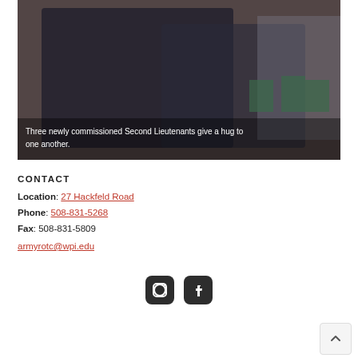[Figure (photo): Three newly commissioned Second Lieutenants in military dress uniforms hugging each other in a formal hall setting with wood paneling and green chairs in the background.]
Three newly commissioned Second Lieutenants give a hug to one another.
CONTACT
Location: 27 Hackfeld Road
Phone: 508-831-5268
Fax: 508-831-5809
armyrotc@wpi.edu
[Figure (logo): Instagram and Facebook social media icons in dark rounded square buttons]